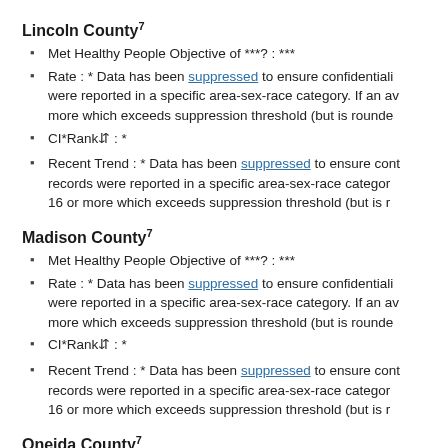Lincoln County7
Met Healthy People Objective of ***?: ***
Rate : * Data has been suppressed to ensure confidentiality were reported in a specific area-sex-race category. If an av more which exceeds suppression threshold (but is rounde
CI*Rank⇕ : *
Recent Trend : * Data has been suppressed to ensure cont records were reported in a specific area-sex-race categor 16 or more which exceeds suppression threshold (but is r
Madison County7
Met Healthy People Objective of ***?: ***
Rate : * Data has been suppressed to ensure confidentiality were reported in a specific area-sex-race category. If an av more which exceeds suppression threshold (but is rounde
CI*Rank⇕ : *
Recent Trend : * Data has been suppressed to ensure cont records were reported in a specific area-sex-race categor 16 or more which exceeds suppression threshold (but is r
Oneida County7